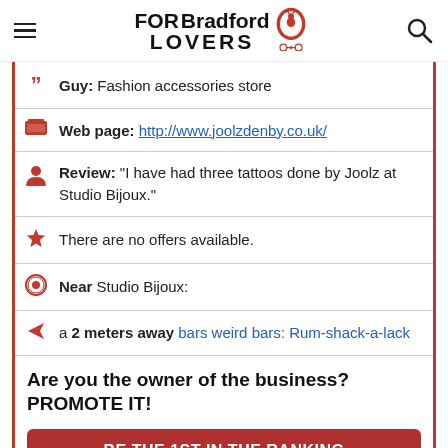FOR Bradford LOVERS
Guy: Fashion accessories store
Web page: http://www.joolzdenby.co.uk/
Review: "I have had three tattoos done by Joolz at Studio Bijoux."
There are no offers available.
Near Studio Bijoux:
a 2 meters away bars weird bars: Rum-shack-a-lack
Are you the owner of the business? PROMOTE IT!
BE THE 1ST IN THE RANKING